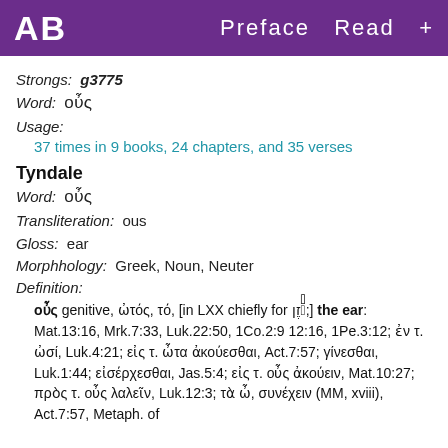AB   Preface  Read  +
Strongs:  g3775
Word:  οὖς
Usage:
37 times in 9 books, 24 chapters, and 35 verses
Tyndale
Word:  οὖς
Transliteration:  ous
Gloss:  ear
Morphhology:  Greek, Noun, Neuter
Definition:
οὖς genitive, ὠτός, τό, [in LXX chiefly for אֹ֫זֶן;] the ear: Mat.13:16, Mrk.7:33, Luk.22:50, 1Co.2:9 12:16, 1Pe.3:12; ἐν τ. ὠσί, Luk.4:21; εἰς τ. ὦτα ἀκούεσθαι, Act.7:57; γίνεσθαι, Luk.1:44; εἰσέρχεσθαι, Jas.5:4; εἰς τ. οὖς ἀκούειν, Mat.10:27; πρὸς τ. οὖς λαλεῖν, Luk.12:3; τὰ ὦ, συνέχειν (MM, xviii), Act.7:57, Metaph. of